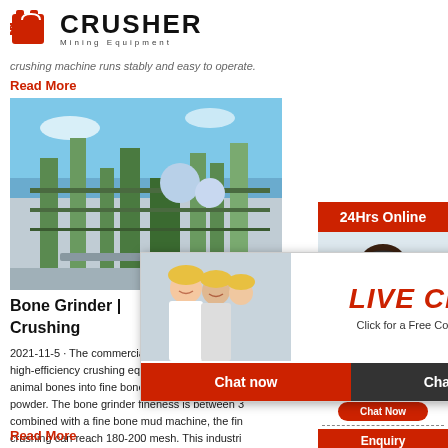[Figure (logo): Crusher Mining Equipment logo with red shopping bag icon and bold CRUSHER text]
crushing machine runs stably and easy to operate.
Read More
[Figure (photo): Industrial mining/crushing facility with blue sky and green metal structures]
Bone Grinder | Crushing
2021-11-5 · The commercial bone grinder machine is a high-efficiency crushing equipment for crushing animal bones into fine bone fragments, bone mud powder. The bone grinder fineness is between 3... combined with a fine bone mud machine, the fine crushing can reach 180-200 mesh. This industrial crusher machine can crush all kinds of dry bones...
Read More
[Figure (screenshot): Live Chat popup overlay with worker photo, LIVE CHAT text, Chat now and Chat later buttons]
[Figure (infographic): Right sidebar with 24Hrs Online banner, customer service agent photo, Need questions & suggestion chat box, Enquiry section, and limingjlmofen@sina.com email]